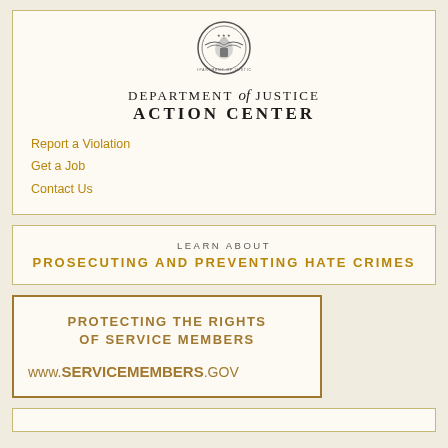[Figure (logo): Department of Justice seal/logo circle, black and white emblem]
DEPARTMENT of JUSTICE ACTION CENTER
Report a Violation
Get a Job
Contact Us
LEARN ABOUT
PROSECUTING AND PREVENTING HATE CRIMES
PROTECTING THE RIGHTS OF SERVICE MEMBERS
www.SERVICEMEMBERS.GOV